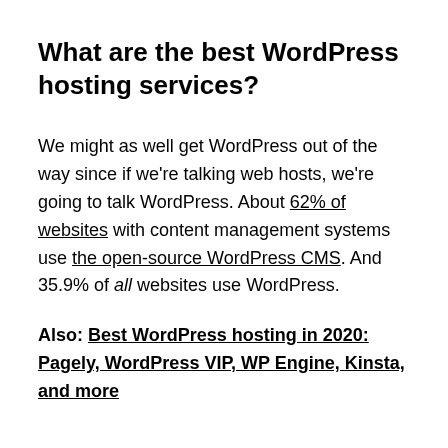What are the best WordPress hosting services?
We might as well get WordPress out of the way since if we're talking web hosts, we're going to talk WordPress. About 62% of websites with content management systems use the open-source WordPress CMS. And 35.9% of all websites use WordPress.
Also: Best WordPress hosting in 2020: Pagely, WordPress VIP, WP Engine, Kinsta, and more